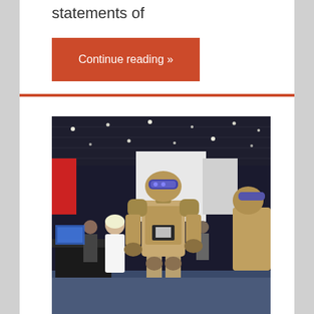statements of
Continue reading »
[Figure (photo): A robot suit/exoskeleton costume displayed at what appears to be a tech expo or trade show. The robot figure is humanoid, tan/gold colored with futuristic armor, wearing a visor. People in the background include a man in traditional Arabic white thobe. The venue has a dark ceiling with spotlights and blue flooring.]